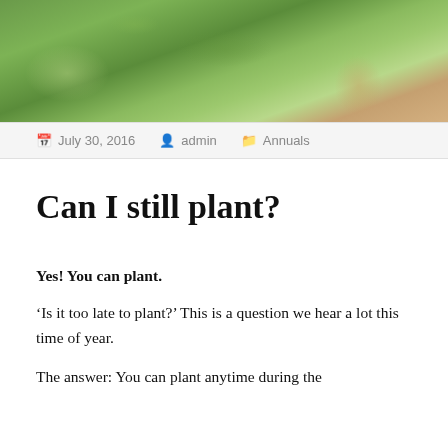[Figure (photo): Close-up photo of green plant leaves and small pink flowers against a blurred green background]
July 30, 2016  admin  Annuals
Can I still plant?
Yes! You can plant.
‘Is it too late to plant?’ This is a question we hear a lot this time of year.
The answer: You can plant anytime during the